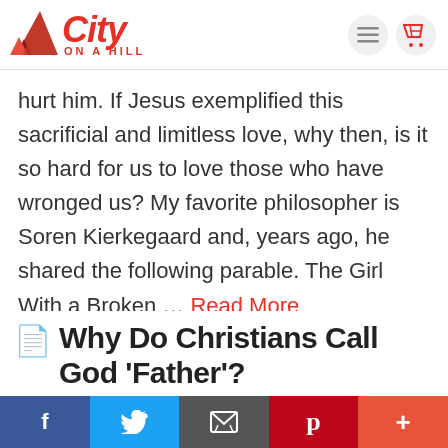City On A Hill logo with navigation icons
hurt him. If Jesus exemplified this sacrificial and limitless love, why then, is it so hard for us to love those who have wronged us? My favorite philosopher is Soren Kierkegaard and, years ago, he shared the following parable. The Girl With a Broken … Read More
Why Do Christians Call God 'Father'?
Social share bar: Facebook, Twitter, Email, Pinterest, More